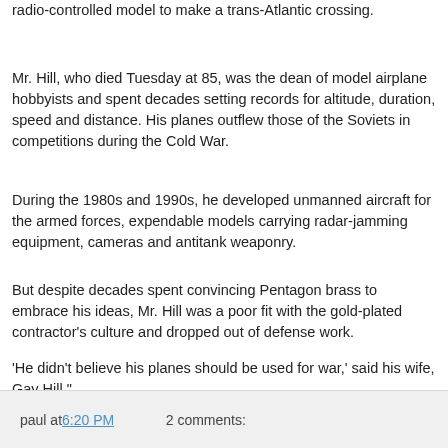radio-controlled model to make a trans-Atlantic crossing.
Mr. Hill, who died Tuesday at 85, was the dean of model airplane hobbyists and spent decades setting records for altitude, duration, speed and distance. His planes outflew those of the Soviets in competitions during the Cold War.
During the 1980s and 1990s, he developed unmanned aircraft for the armed forces, expendable models carrying radar-jamming equipment, cameras and antitank weaponry.
But despite decades spent convincing Pentagon brass to embrace his ideas, Mr. Hill was a poor fit with the gold-plated contractor's culture and dropped out of defense work.
'He didn't believe his planes should be used for war,' said his wife, Gay Hill."
The rest is here.
paul at 6:20 PM    2 comments: